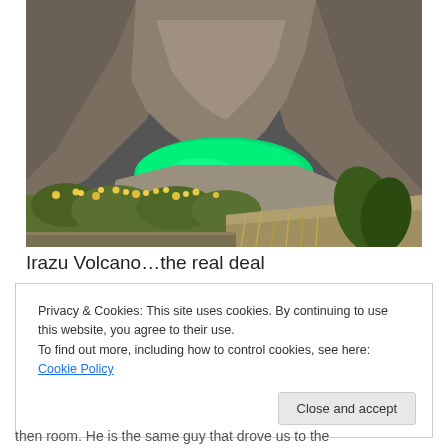[Figure (photo): Irazu Volcano crater with a vivid green crater lake, rocky walls, and yellow wildflowers in the foreground]
Irazu Volcano…the real deal
Privacy & Cookies: This site uses cookies. By continuing to use this website, you agree to their use.
To find out more, including how to control cookies, see here: Cookie Policy
then room. He is the same guy that drove us to the